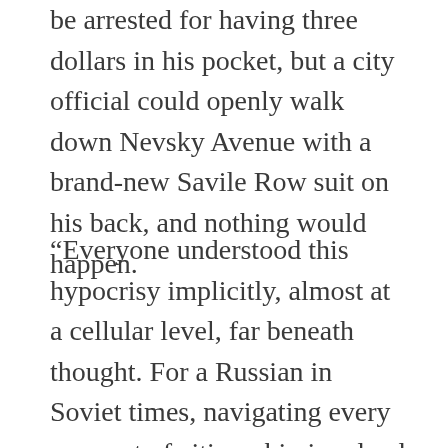be arrested for having three dollars in his pocket, but a city official could openly walk down Nevsky Avenue with a brand-new Savile Row suit on his back, and nothing would happen.
“Everyone understood this hypocrisy implicitly, almost at a cellular level, far beneath thought. For a Russian in Soviet times, navigating every moment of citizenship involved countless silent calculations of this type. But the instant people were permitted to think about all this, the entire th…